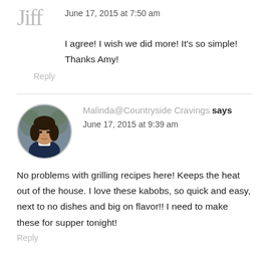June 17, 2015 at 7:50 am
I agree! I wish we did more! It's so simple! Thanks Amy!
Reply
Malinda@Countryside Cravings says
June 17, 2015 at 9:39 am
No problems with grilling recipes here! Keeps the heat out of the house. I love these kabobs, so quick and easy, next to no dishes and big on flavor!! I need to make these for supper tonight!
Reply